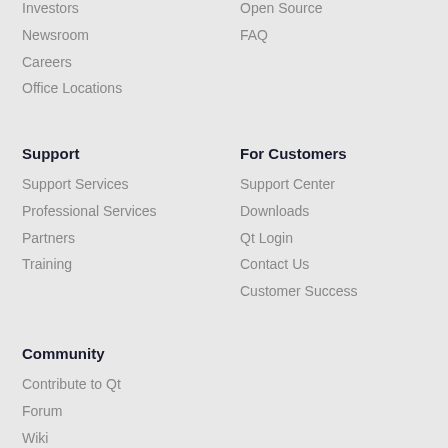Investors
Newsroom
Careers
Office Locations
Open Source
FAQ
Support
Support Services
Professional Services
Partners
Training
For Customers
Support Center
Downloads
Qt Login
Contact Us
Customer Success
Community
Contribute to Qt
Forum
Wiki
Downloads